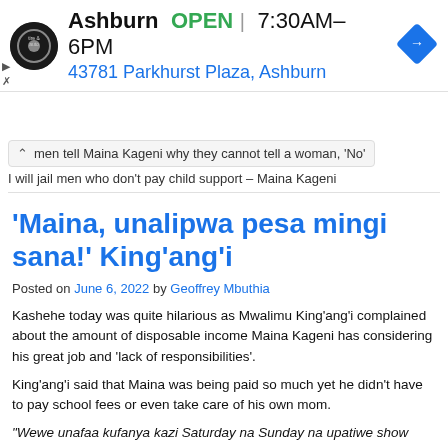[Figure (screenshot): Ad banner for a tire and auto shop. Shows a circular logo with 'tire & auto' text, business name 'Ashburn', status 'OPEN', hours '7:30AM–6PM', address '43781 Parkhurst Plaza, Ashburn', and a blue diamond navigation arrow icon.]
men tell Maina Kageni why they cannot tell a woman, 'No'
I will jail men who don't pay child support – Maina Kageni
'Maina, unalipwa pesa mingi sana!' King'ang'i
Posted on June 6, 2022 by Geoffrey Mbuthia
Kashehe today was quite hilarious as Mwalimu King'ang'i complained about the amount of disposable income Maina Kageni has considering his great job and 'lack of responsibilities'.
King'ang'i said that Maina was being paid so much yet he didn't have to pay school fees or even take care of his own mom.
“Wewe unafaa kufanya kazi Saturday na Sunday na upatiwe show ingine ya usiku! Hiyo pesa unalipwa ni mingi sana! Na hata haulipi